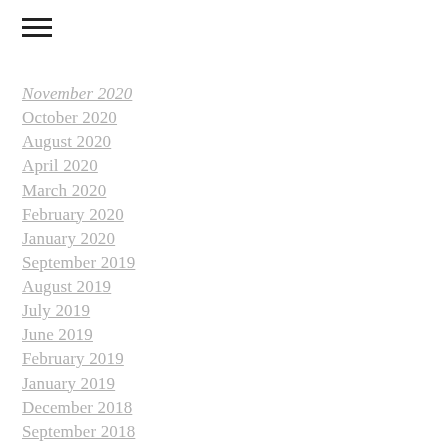November 2020
October 2020
August 2020
April 2020
March 2020
February 2020
January 2020
September 2019
August 2019
July 2019
June 2019
February 2019
January 2019
December 2018
September 2018
August 2018
July 2018